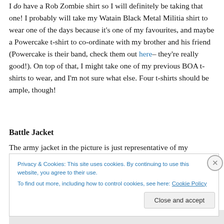I do have a Rob Zombie shirt so I will definitely be taking that one! I probably will take my Watain Black Metal Militia shirt to wear one of the days because it's one of my favourites, and maybe a Powercake t-shirt to co-ordinate with my brother and his friend (Powercake is their band, check them out here– they're really good!). On top of that, I might take one of my previous BOA t-shirts to wear, and I'm not sure what else. Four t-shirts should be ample, though!
Battle Jacket
The army jacket in the picture is just representative of my
Privacy & Cookies: This site uses cookies. By continuing to use this website, you agree to their use.
To find out more, including how to control cookies, see here: Cookie Policy